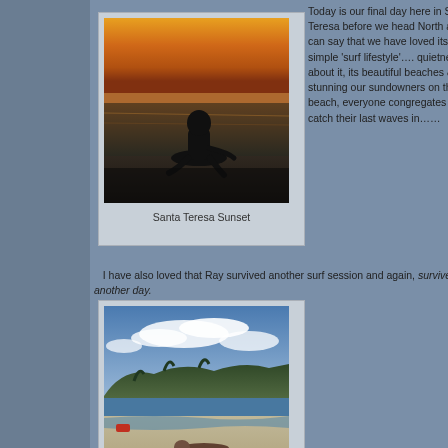[Figure (photo): Silhouette of a person sitting on a beach at sunset, watching ocean waves, dramatic orange and golden sky]
Santa Teresa Sunset
Today is our final day here in Santa Teresa before we head North and I can say that we have loved its simple 'surf lifestyle'…. quietness about it, its beautiful beaches & stunning our sundowners on the beach, everyone congregates to catch their last waves in……
I have also loved that Ray survived another surf session and again, survived another day.
[Figure (photo): A sunny tropical beach with blue sky, white clouds, green forested hills in the background, and a figure lying on the sand]
Ray SURVIVED.